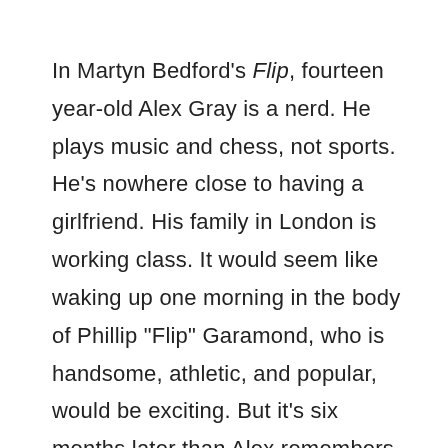In Martyn Bedford's Flip, fourteen year-old Alex Gray is a nerd. He plays music and chess, not sports. He's nowhere close to having a girlfriend. His family in London is working class. It would seem like waking up one morning in the body of Phillip "Flip" Garamond, who is handsome, athletic, and popular, would be exciting. But it's six months later than Alex remembers it being and he has no idea where he is, or why he isn't himself anymore, and he's terrified. He bumbles through life as Flip while trying desperately to figure out what happened to him before making contact with a mysterious stranger called